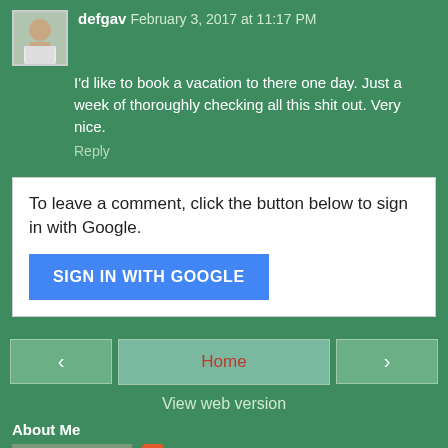defgav  February 3, 2017 at 11:17 PM
I'd like to book a vacation to there one day. Just a week of thoroughly checking all this shit out. Very nice.
Reply
To leave a comment, click the button below to sign in with Google.
SIGN IN WITH GOOGLE
‹
Home
›
View web version
About Me
The Junior Junkie
New Orleans, La, United States
I have over 8000 different Griffey cards. I will be posting information and reviews as well as high